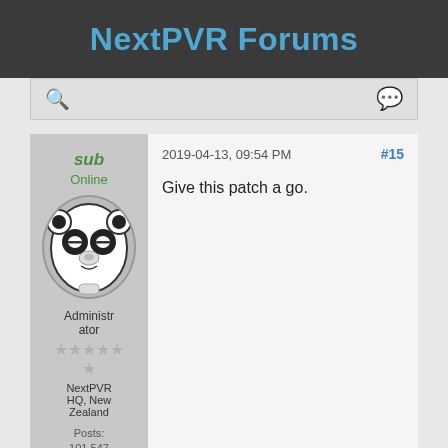NextPVR Forums
[Figure (screenshot): Navigation bar with search and chat icons]
[Figure (illustration): Panda avatar for user 'sub']
sub
Online
Administrator
NextPVR HQ, New Zealand
Posts: 101,547
2019-04-13, 09:54 PM
#15
Give this patch a go.